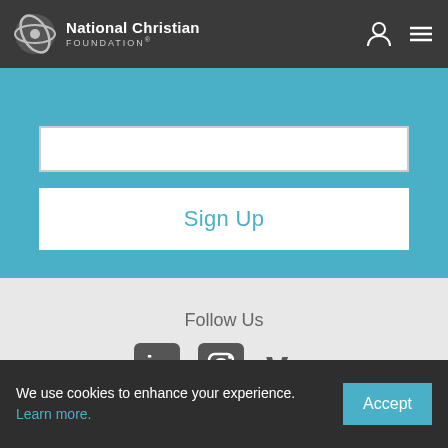National Christian FOUNDATION®
Sign Up
Follow Us
[Figure (other): Social media icons: LinkedIn, Instagram, Vimeo]
Quick Links
FORMS
FINANCIALS
We use cookies to enhance your experience. Learn more. Accept